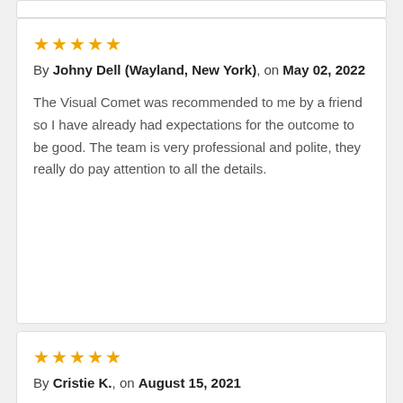★★★★★
By Johny Dell (Wayland, New York), on May 02, 2022

The Visual Comet was recommended to me by a friend so I have already had expectations for the outcome to be good. The team is very professional and polite, they really do pay attention to all the details.
★★★★★
By Cristie K., on August 15, 2021

I would like to thank the whole team of the Visual Comet for literally jumping over the head and making everything even beyond our